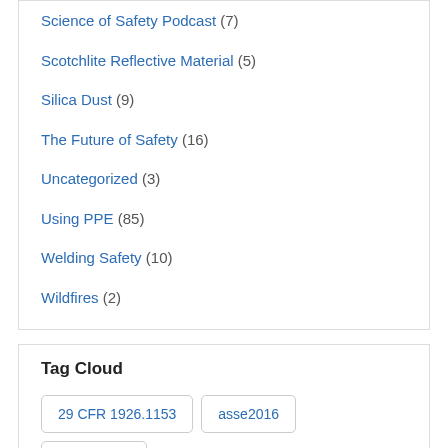Science of Safety Podcast (7)
Scotchlite Reflective Material (5)
Silica Dust (9)
The Future of Safety (16)
Uncategorized (3)
Using PPE (85)
Welding Safety (10)
Wildfires (2)
Tag Cloud
29 CFR 1926.1153
asse2016
ASSE 2017
CBRN
Chemical Exposure
Confined space